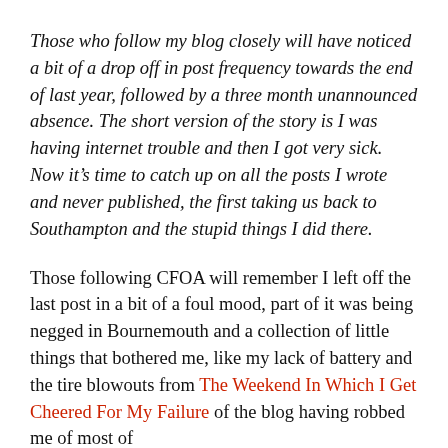Those who follow my blog closely will have noticed a bit of a drop off in post frequency towards the end of last year, followed by a three month unannounced absence. The short version of the story is I was having internet trouble and then I got very sick. Now it's time to catch up on all the posts I wrote and never published, the first taking us back to Southampton and the stupid things I did there.
Those following CFOA will remember I left off the last post in a bit of a foul mood, part of it was being negged in Bournemouth and a collection of little things that bothered me, like my lack of battery and the tire blowouts from The Weekend In Which I Get Cheered For My Failure of the blog having robbed me of most of